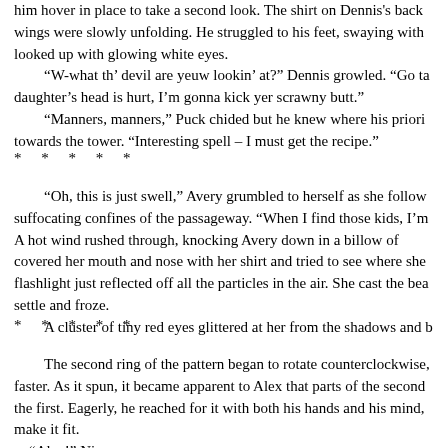him hover in place to take a second look. The shirt on Dennis's back wings were slowly unfolding. He struggled to his feet, swaying with looked up with glowing white eyes.
“W-what th’ devil are yeuw lookin’ at?” Dennis growled. “Go ta daughter’s head is hurt, I’m gonna kick yer scrawny butt.”
“Manners, manners,” Puck chided but he knew where his priori towards the tower. “Interesting spell – I must get the recipe.”
* * * * *
“Oh, this is just swell,” Avery grumbled to herself as she follow suffocating confines of the passageway. “When I find those kids, I’m
A hot wind rushed through, knocking Avery down in a billow of covered her mouth and nose with her shirt and tried to see where she flashlight just reflected off all the particles in the air. She cast the bea settle and froze.
A cluster of tiny red eyes glittered at her from the shadows and b
* * * * *
The second ring of the pattern began to rotate counterclockwise, faster. As it spun, it became apparent to Alex that parts of the second the first. Eagerly, he reached for it with both his hands and his mind, make it fit.
“Alex!” Ni...